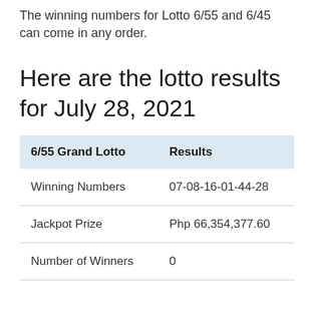The winning numbers for Lotto 6/55 and 6/45 can come in any order.
Here are the lotto results for July 28, 2021
| 6/55 Grand Lotto | Results |
| --- | --- |
| Winning Numbers | 07-08-16-01-44-28 |
| Jackpot Prize | Php 66,354,377.60 |
| Number of Winners | 0 |